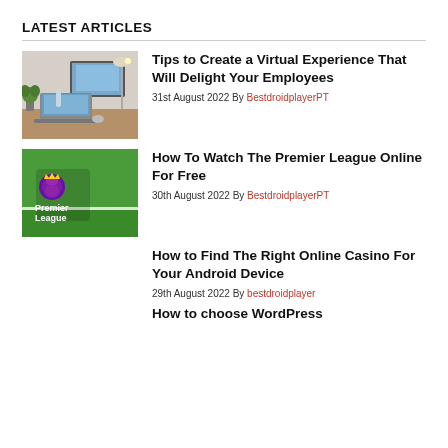LATEST ARTICLES
[Figure (photo): Laptop and monitor on a desk with a lamp and plant]
Tips to Create a Virtual Experience That Will Delight Your Employees
31st August 2022 By BestdroidplayerPT
[Figure (photo): Premier League logo on green grass field]
How To Watch The Premier League Online For Free
30th August 2022 By BestdroidplayerPT
How to Find The Right Online Casino For Your Android Device
29th August 2022 By bestdroidplayer
How to choose WordPress